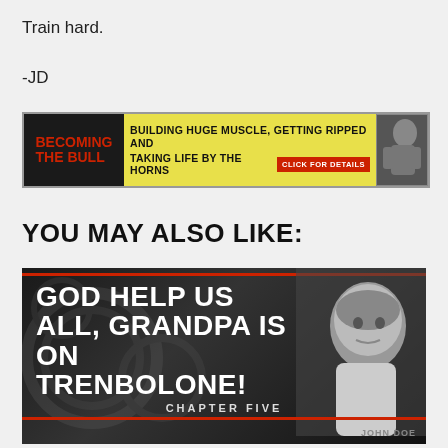Train hard.
-JD
[Figure (infographic): Advertisement banner for 'Becoming The Bull' — yellow background with bold red/black text reading 'BUILDING HUGE MUSCLE, GETTING RIPPED AND TAKING LIFE BY THE HORNS' with a red 'CLICK FOR DETAILS' button and a muscular figure on the right.]
YOU MAY ALSO LIKE:
[Figure (photo): Promotional image with dark/gritty background showing an older man with white hair and stern expression. Bold white text reads 'GOD HELP US ALL, GRANDPA IS ON TRENBOLONE! CHAPTER FIVE'. Red horizontal lines at top and bottom. 'JOHN DOE' watermark at bottom right.]